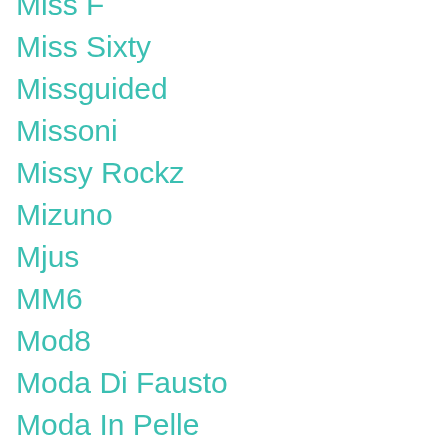Miss F
Miss Sixty
Missguided
Missoni
Missy Rockz
Mizuno
Mjus
MM6
Mod8
Moda Di Fausto
Moda In Pelle
Moheda